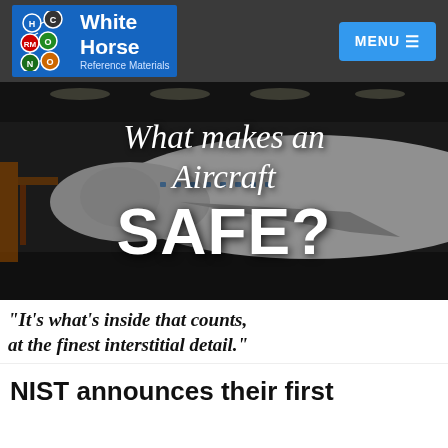White Horse Reference Materials — MENU
[Figure (photo): Aerial/interior factory view of a large commercial aircraft (Boeing) being assembled in a manufacturing hangar, overlaid with italic text 'What makes an Aircraft' and bold large text 'SAFE?']
"It's what's inside that counts, at the finest interstitial detail."
NIST announces their first